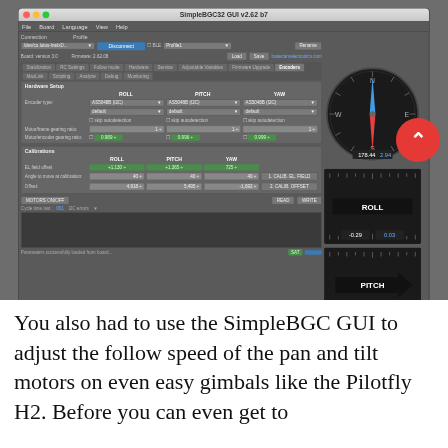[Figure (screenshot): SimpleBGC32 GUI v2.62 b7 software interface showing encoder hardware setup panel with ROLL, PITCH, YAW columns, AS5048B (I2C) encoder type dropdowns, calibration fields with green numeric inputs, motor gearing ratio fields, MOTORS ON/OFF button, READ and WRITE buttons, and three circular gimbal indicator gauges on the right side showing heading, roll, and pitch values.]
You also had to use the SimpleBGC GUI to adjust the follow speed of the pan and tilt motors on even easy gimbals like the Pilotfly H2. Before you can even get to